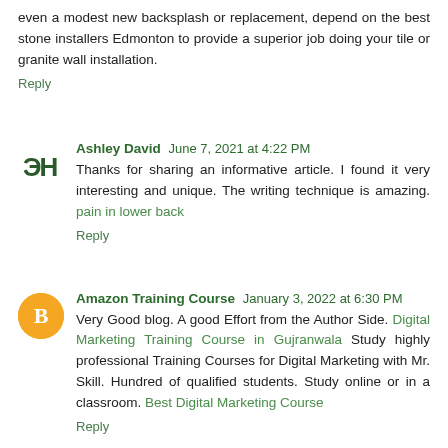even a modest new backsplash or replacement, depend on the best stone installers Edmonton to provide a superior job doing your tile or granite wall installation.
Reply
Ashley David June 7, 2021 at 4:22 PM
Thanks for sharing an informative article. I found it very interesting and unique. The writing technique is amazing. pain in lower back
Reply
Amazon Training Course January 3, 2022 at 6:30 PM
Very Good blog. A good Effort from the Author Side. Digital Marketing Training Course in Gujranwala Study highly professional Training Courses for Digital Marketing with Mr. Skill. Hundred of qualified students. Study online or in a classroom. Best Digital Marketing Course
Reply